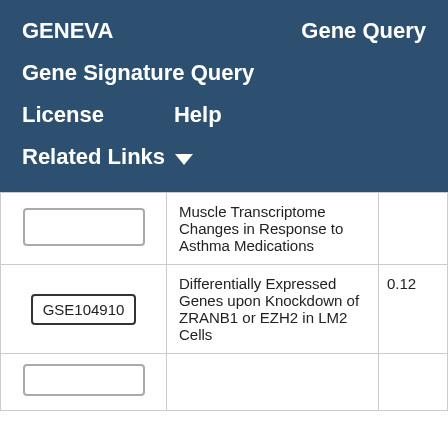GENEVA   Gene Query
Gene Signature Query
License    Help
Related Links ▼
| GSE ID | Description | Score |
| --- | --- | --- |
|  | Muscle Transcriptome Changes in Response to Asthma Medications |  |
| GSE104910 | Differentially Expressed Genes upon Knockdown of ZRANB1 or EZH2 in LM2 Cells | 0.12 |
|  |  |  |